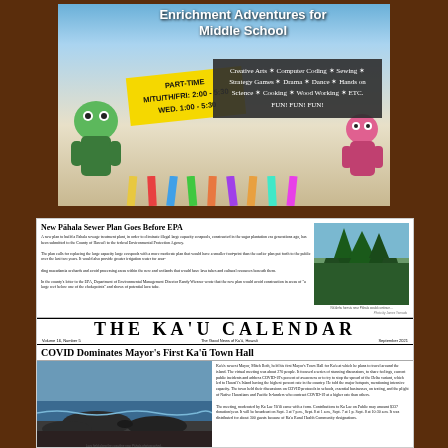[Figure (illustration): Colorful advertisement for Enrichment Adventures for Middle School program showing cartoon characters, a yellow sticky note with schedule times, and a dark chalkboard with activity list]
[Figure (screenshot): Newspaper page showing Ka'u Calendar with two articles: 'New Pahala Sewer Plan Goes Before EPA' and 'COVID Dominates Mayor's First Ka'u Town Hall', with accompanying photographs of forest and coastal scenery]